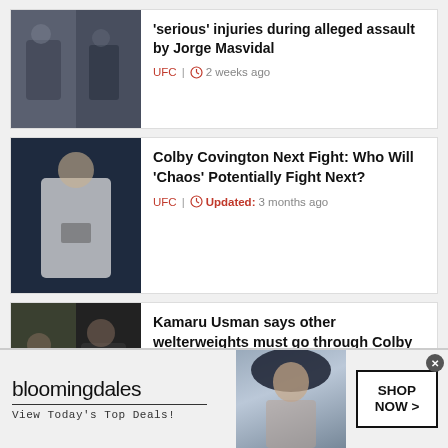[Figure (photo): Two MMA fighters photo collage - Colby Covington assault story thumbnail]
Colby Covington suffered 'serious' injuries during alleged assault by Jorge Masvidal
UFC | 2 weeks ago
[Figure (photo): Colby Covington standing in white Reebok shirt at UFC event]
Colby Covington Next Fight: Who Will 'Chaos' Potentially Fight Next?
UFC | Updated: 3 months ago
[Figure (photo): Collage of Kamaru Usman in sparkly tuxedo and MMA fighter]
Kamaru Usman says other welterweights must go through Colby Covington before facing him
UFC | 3 months ago
[Figure (photo): Bloomingdales advertisement banner with woman in wide brim hat. Text: bloomingdales, View Today's Top Deals!, SHOP NOW >]